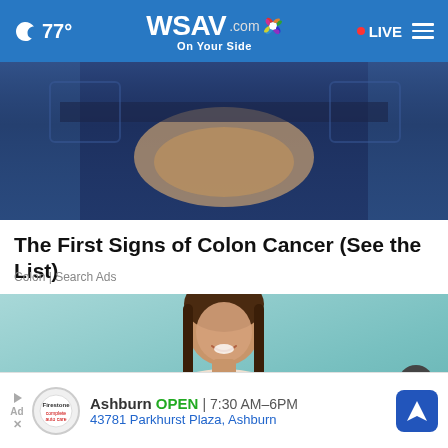WSAV.com On Your Side | 77° | LIVE
[Figure (photo): Close-up photo of person in jeans with hands clasped at waist]
The First Signs of Colon Cancer (See the List)
Colon | Search Ads
[Figure (photo): Young woman smiling holding a credit card against a teal background]
Ashburn  OPEN  7:30 AM–6PM  43781 Parkhurst Plaza, Ashburn